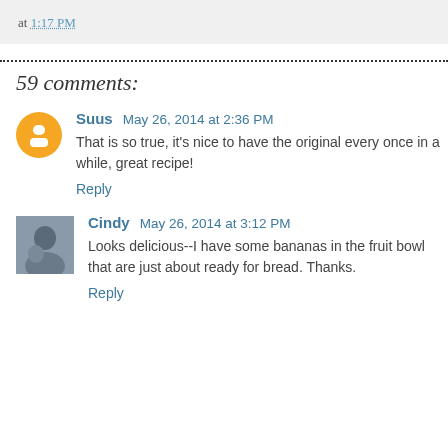at 1:17 PM
59 comments:
Suus  May 26, 2014 at 2:36 PM
That is so true, it's nice to have the original every once in a while, great recipe!
Reply
Cindy  May 26, 2014 at 3:12 PM
Looks delicious--I have some bananas in the fruit bowl that are just about ready for bread. Thanks.
Reply